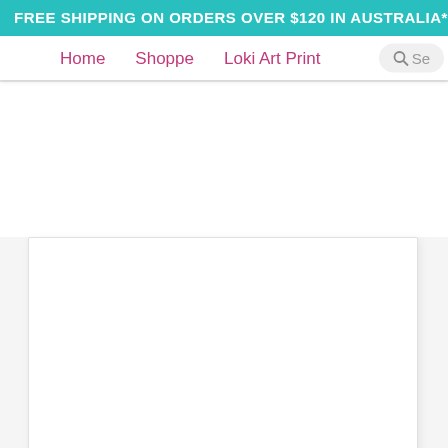FREE SHIPPING ON ORDERS OVER $120 IN AUSTRALIA*U
Home   Shoppe   Loki Art Print
[Figure (screenshot): Website navigation bar with teal banner announcing free shipping, pink navigation links (Home, Shoppe, Loki Art Print), and a search icon. Below is a white content area with a white card/image placeholder.]